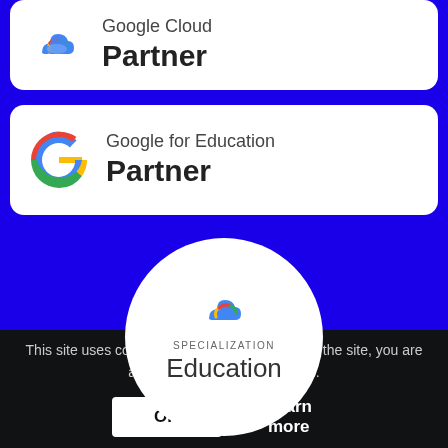[Figure (logo): Google Cloud Partner badge with cloud logo icon and text 'Google Cloud Partner']
[Figure (logo): Google for Education Partner badge with Google G logo and text 'Google for Education Partner']
[Figure (logo): Google Cloud Specialization Education circular badge with cloud icon, 'SPECIALIZATION' label, and 'Education' text]
This site uses cookies. By continuing to browse the site, you are agreeing to our use of cookies.
OK   Learn more